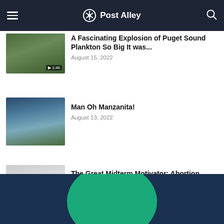Post Alley
September 4, 2022
A Fascinating Explosion of Puget Sound Plankton So Big It was...
August 15, 2022
Man Oh Manzanita!
August 13, 2022
The Great Midterm Motivator: Abortion
September 3, 2022